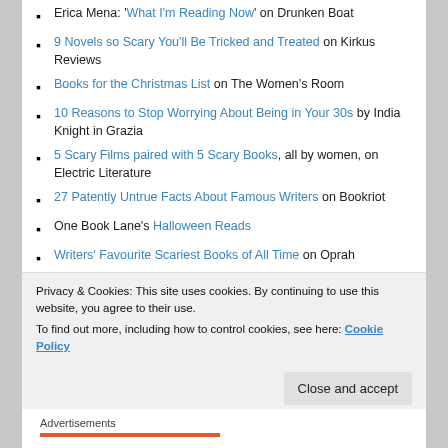Erica Mena: 'What I'm Reading Now' on Drunken Boat
9 Novels so Scary You'll Be Tricked and Treated on Kirkus Reviews
Books for the Christmas List on The Women's Room
10 Reasons to Stop Worrying About Being in Your 30s by India Knight in Grazia
5 Scary Films paired with 5 Scary Books, all by women, on Electric Literature
27 Patently Untrue Facts About Famous Writers on Bookriot
One Book Lane's Halloween Reads
Writers' Favourite Scariest Books of All Time on Oprah
5 Page Turners that Will Surprise You More than
Privacy & Cookies: This site uses cookies. By continuing to use this website, you agree to their use. To find out more, including how to control cookies, see here: Cookie Policy
Close and accept
Advertisements